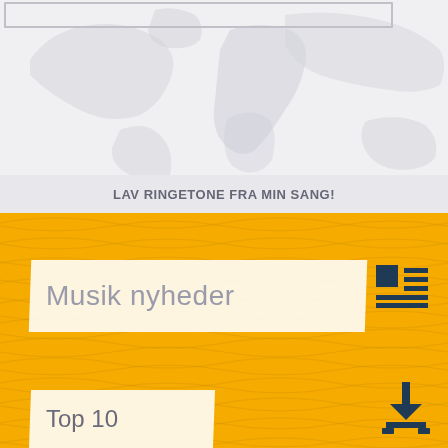[Figure (screenshot): Top section with world map silhouette background in light gray, with a rectangular border box in upper left area]
LAV RINGETONE FRA MIN SANG!
Musik nyheder
[Figure (other): List/article view icon — dark teal square with horizontal lines, representing a list view toggle]
Top 10
[Figure (other): Download icon — dark teal downward arrow with base line, representing a download action]